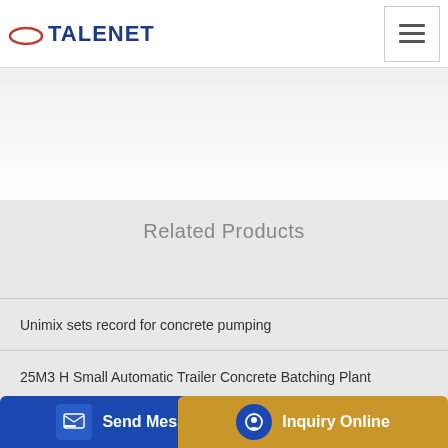TALENET
[Figure (photo): Light gray textured background, likely a concrete or wall texture image in the header area]
Related Products
Unimix sets record for concrete pumping
25M3 H Small Automatic Trailer Concrete Batching Plant
...edes-B...